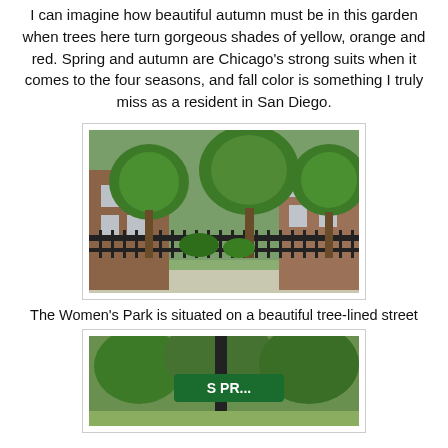I can imagine how beautiful autumn must be in this garden when trees here turn gorgeous shades of yellow, orange and red. Spring and autumn are Chicago's strong suits when it comes to the four seasons, and fall color is something I truly miss as a resident in San Diego.
[Figure (photo): Photo of a tree-lined street outside a park with iron fence and brick buildings visible, lush green trees in summer]
The Women's Park is situated on a beautiful tree-lined street
[Figure (photo): Photo of a street sign at an intersection near a park, green street sign with trees in background]